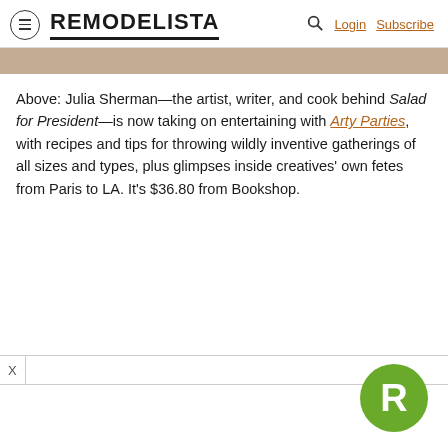REMODELISTA | Login Subscribe
[Figure (photo): Partial image strip at top of content area]
Above: Julia Sherman—the artist, writer, and cook behind Salad for President—is now taking on entertaining with Arty Parties, with recipes and tips for throwing wildly inventive gatherings of all sizes and types, plus glimpses inside creatives' own fetes from Paris to LA. It's $36.80 from Bookshop.
[Figure (logo): Remodelista green circular R logo badge in bottom right corner]